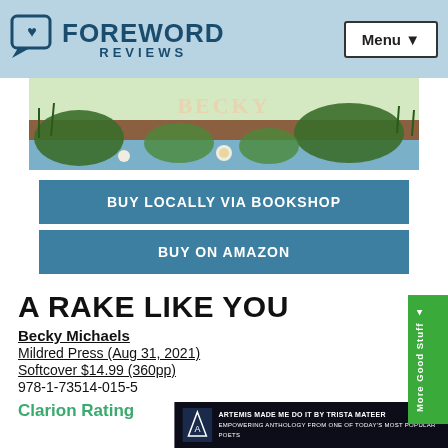FOREWORD REVIEWS  Menu
[Figure (illustration): Book cover illustration with green leaves and lily pads on water, with text BECKY visible]
BUY LOCALLY VIA BOOKSHOP
BUY ON AMAZON
A RAKE LIKE YOU
Becky Michaels
Mildred Press (Aug 31, 2021)
Softcover $14.99 (360pp)
978-1-73514-015-5
Clarion Rating
[Figure (screenshot): Advertisement bar: ARTEMIS MADE ME DO IT BY TRISTA MATEER - EMPOWERING ANTHOLOGY FROM ONE OF TODAY'S MOST POPULAR POETS]